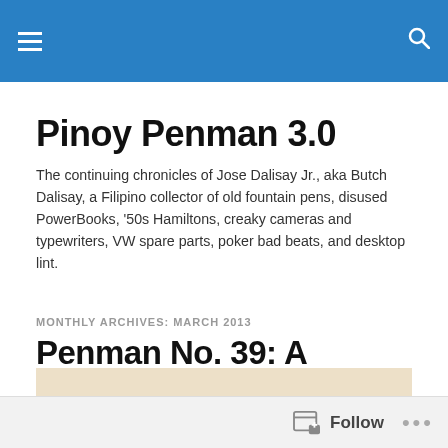Pinoy Penman 3.0 — navigation header with hamburger menu and search icon
Pinoy Penman 3.0
The continuing chronicles of Jose Dalisay Jr., aka Butch Dalisay, a Filipino collector of old fountain pens, disused PowerBooks, '50s Hamiltons, creaky cameras and typewriters, VW spare parts, poker bad beats, and desktop lint.
MONTHLY ARCHIVES: MARCH 2013
Penman No. 39: A Weekend of Bargains
[Figure (photo): Partial image strip at bottom, beige/tan background]
Follow